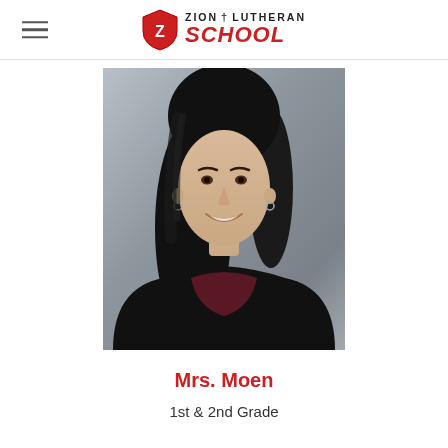Zion Lutheran School
[Figure (photo): Professional headshot of Mrs. Moen, a woman with long dark hair, smiling, wearing a dark blazer over a burgundy top, against a grey background]
Mrs. Moen
1st & 2nd Grade